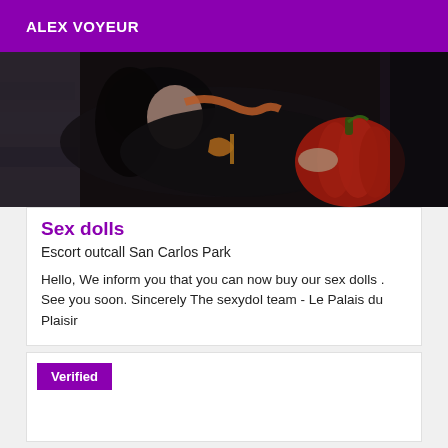ALEX VOYEUR
[Figure (photo): A person in dark clothing lying against a stone wall, holding a large red pumpkin, wearing an orange scarf]
Sex dolls
Escort outcall San Carlos Park
Hello, We inform you that you can now buy our sex dolls . See you soon. Sincerely The sexydol team - Le Palais du Plaisir
Verified